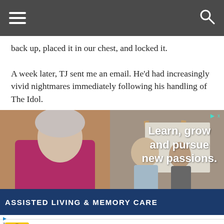Navigation bar with hamburger menu and search icon
back up, placed it in our chest, and locked it.

A week later, TJ sent me an email. He'd had increasingly vivid nightmares immediately following his handling of The Idol.
[Figure (photo): Advertisement: Elderly woman painting at an easel with two other people in background. Text overlay reads 'Learn, grow and pursue new passions.' Bottom blue bar reads 'ASSISTED LIVING & MEMORY CARE']
[Figure (photo): Advertisement: Hair Cuttery ad. Yellow logo with HC text. Text reads 'Book a Same Day Appointment' with 'Hair Cuttery' in blue. Blue navigation arrow icon on right.]